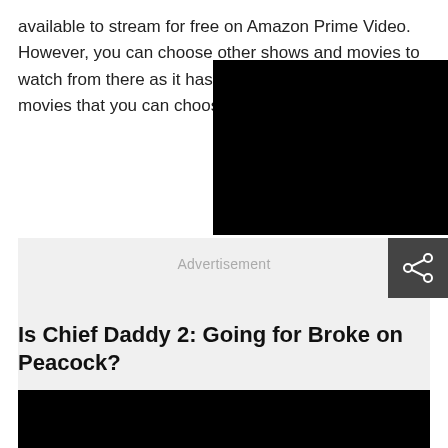available to stream for free on Amazon Prime Video. However, you can choose other shows and movies to watch from there as it has a wi[de selection of] movies that you can choose fr[om].
[Figure (other): Black rectangle overlay covering upper right portion of the page, obscuring part of the text.]
[Figure (other): Advertisement placeholder box with light gray background and 'Advertisement' label in gray text.]
[Figure (other): Dark gray share button icon in the lower right corner of the advertisement box.]
Is Chief Daddy 2: Going for Broke on Peacock?
[Figure (photo): Black rectangular image at the bottom of the page, partially visible.]